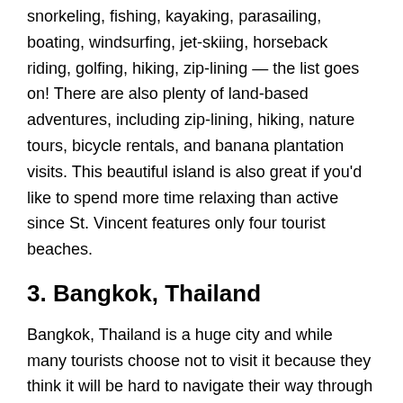snorkeling, fishing, kayaking, parasailing, boating, windsurfing, jet-skiing, horseback riding, golfing, hiking, zip-lining — the list goes on! There are also plenty of land-based adventures, including zip-lining, hiking, nature tours, bicycle rentals, and banana plantation visits. This beautiful island is also great if you'd like to spend more time relaxing than active since St. Vincent features only four tourist beaches.
3. Bangkok, Thailand
Bangkok, Thailand is a huge city and while many tourists choose not to visit it because they think it will be hard to navigate their way through Bangkok's massive traffic, that shouldn't deter you. In fact, it might not be as bad as you expect. The best thing to do when visiting Bangkok is to first catch a train to one of its suburbs. From there, you'll get a better sense of how big of a city it really is. While most visitors stay within the boundaries of Chinatown and the area just